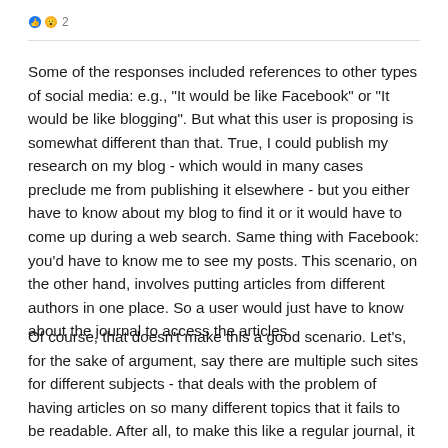👍 😮 2
Some of the responses included references to other types of social media: e.g., "It would be like Facebook" or "It would be like blogging". But what this user is proposing is somewhat different than that. True, I could publish my research on my blog - which would in many cases preclude me from publishing it elsewhere - but you either have to know about my blog to find it or it would have to come up during a web search. Same thing with Facebook: you'd have to know me to see my posts. This scenario, on the other hand, involves putting articles from different authors in one place. So a user would just have to know about the journal to access the articles.
Of course, that doesn't make this a good scenario. Let's, for the sake of argument, say there are multiple such sites for different subjects - that deals with the problem of having articles on so many different topics that it fails to be readable. After all, to make this like a regular journal, it would need to have aims and scope: a description of what